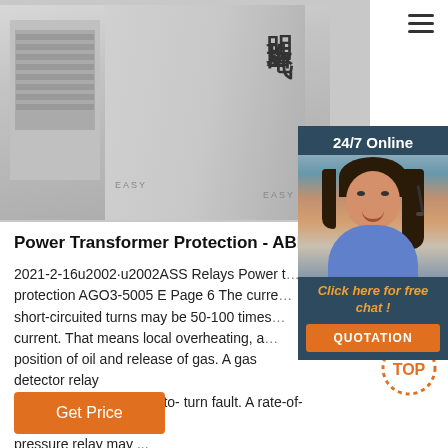[Figure (photo): Gray industrial power transformer unit with Chinese characters (明珠电气) on the side panel, photographed from a slight angle showing ventilation louvers and cabinet structure.]
[Figure (photo): 24/7 Online chat widget showing a female customer service agent with headset, smiling, with dark hair. Widget has dark blue header reading '24/7 Online', an orange italic text 'Click here for free chat !', and an orange QUOTATION button.]
Power Transformer Protection - ABB
2021-2-16u2002·u2002ASS Relays Power transformer protection AGO3-5005 E Page 6 The current in short-circuited turns may be 50-100 times the rated current. That means local overheating, an decomposition of oil and release of gas. A gas detector relay therefore detects a turn-to- turn fault. A rate-of-rise pressure relay may ...
[Figure (other): Circular dotted TOP button graphic in orange/red dots with 'TOP' text in orange, used as a back-to-top navigation element.]
Get Price